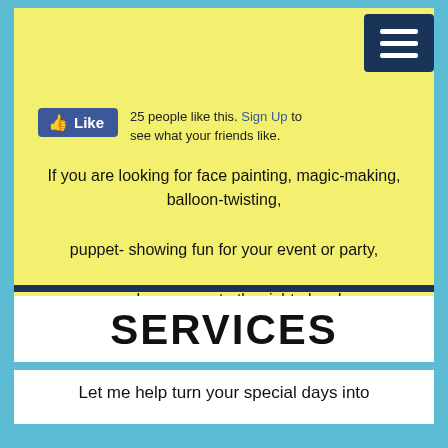[Figure (screenshot): Facebook Like button widget showing '25 people like this. Sign Up to see what your friends like.']
If you are looking for face painting, magic-making, balloon-twisting, puppet- showing fun for your event or party, you have come to the right place!
Budderball the Clown & Co. Call/Text 707-332-5891
email budderball1@gmail.com
SERVICES
Let me help turn your special days into